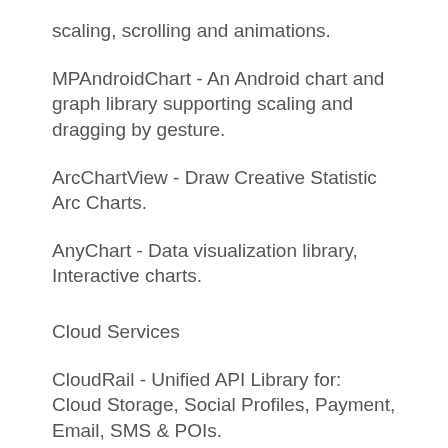scaling, scrolling and animations.
MPAndroidChart - An Android chart and graph library supporting scaling and dragging by gesture.
ArcChartView - Draw Creative Statistic Arc Charts.
AnyChart - Data visualization library, Interactive charts.
Cloud Services
CloudRail - Unified API Library for: Cloud Storage, Social Profiles, Payment, Email, SMS & POIs.
Data binding